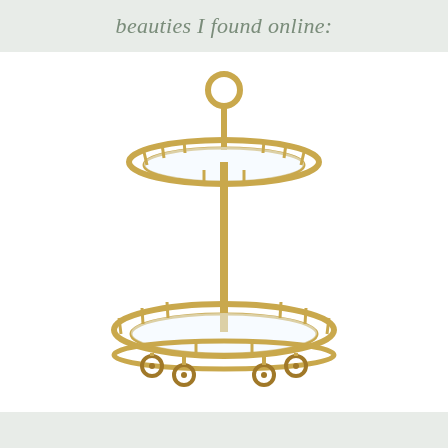beauties I found online:
[Figure (photo): A two-tier round gold bar cart with glass shelves, vertical spindle railing accents, a circular top handle, a central vertical pole, and four gold caster wheels at the base. The cart is finished in a brushed gold/brass tone with mirrored or clear glass shelves.]